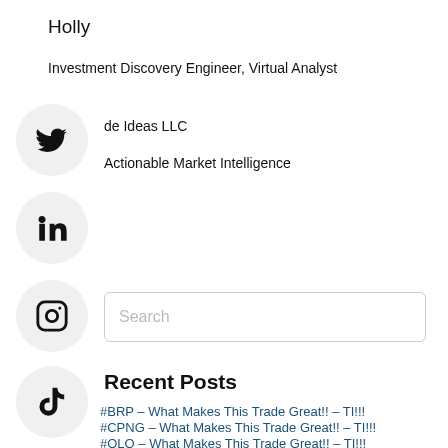Holly
Investment Discovery Engineer, Virtual Analyst
de Ideas LLC
Actionable Market Intelligence
[Figure (logo): Twitter bird icon in a circle]
[Figure (logo): LinkedIn 'in' icon in a circle]
[Figure (logo): Instagram camera icon in a circle]
[Figure (logo): TikTok music note icon in a circle]
Search
Recent Posts
#BRP – What Makes This Trade Great!! – TI!!!
#CPNG – What Makes This Trade Great!! – TI!!!
#OLO – What Makes This Trade Great!! – TI!!!
#EMBK – What Makes This Trade Great!! – TI!!!
GH – What Makes This Trade Great!! – TI!!!